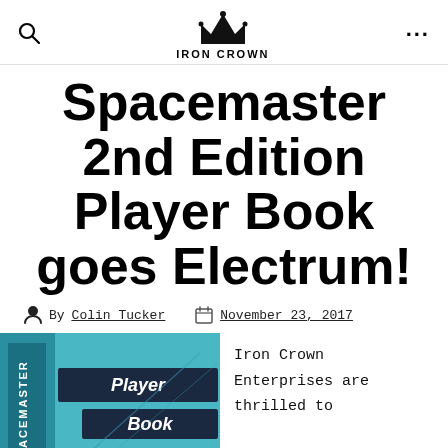IRON CROWN
Spacemaster 2nd Edition Player Book goes Electrum!
By Colin Tucker   November 23, 2017
[Figure (photo): Cover of Spacemaster 2nd Edition Player Book showing the title text 'Player Book' in a dark blue banner on a teal/light blue background]
Iron Crown Enterprises are thrilled to